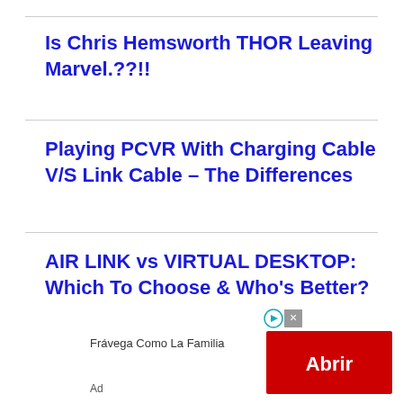Is Chris Hemsworth THOR Leaving Marvel.??!!
Playing PCVR With Charging Cable V/S Link Cable – The Differences
AIR LINK vs VIRTUAL DESKTOP: Which To Choose & Who's Better?
Top 7 Best Oculus Quest 2 ESCAPE ROOM GAMES For Endless Fun
[Figure (other): Advertisement banner: Frávega Como La Familia with red Abrir button and ad disclosure icons]